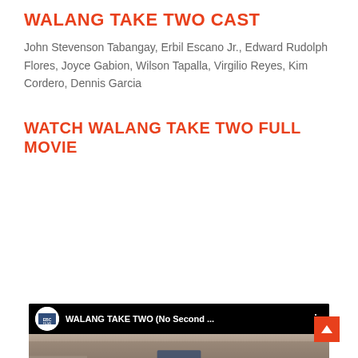WALANG TAKE TWO CAST
John Stevenson Tabangay, Erbil Escano Jr., Edward Rudolph Flores, Joyce Gabion, Wilson Tapalla, Virgilio Reyes, Kim Cordero, Dennis Garcia
WATCH WALANG TAKE TWO FULL MOVIE
[Figure (screenshot): YouTube embedded video thumbnail for 'WALANG TAKE TWO (No Second...)' by EBC Films. Shows a group of people running on a street with the text 'WALANG TAKE TWO FULL MOVIE OFFICIAL COPY' overlaid. A red YouTube play button is centered on the thumbnail. The video header shows the EBC Films logo and channel name.]